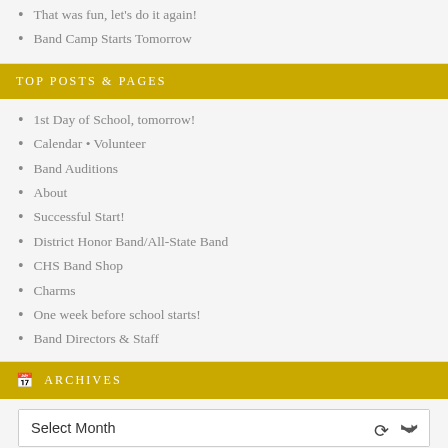That was fun, let's do it again!
Band Camp Starts Tomorrow
TOP POSTS & PAGES
1st Day of School, tomorrow!
Calendar • Volunteer
Band Auditions
About
Successful Start!
District Honor Band/All-State Band
CHS Band Shop
Charms
One week before school starts!
Band Directors & Staff
ARCHIVES
Select Month